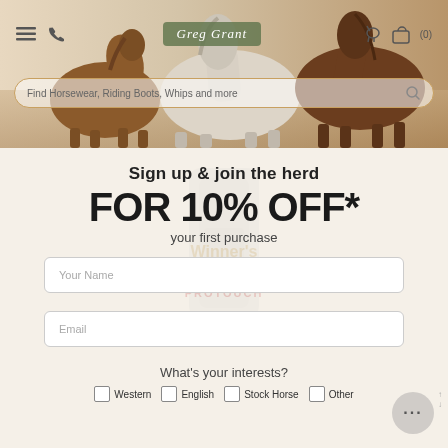[Figure (screenshot): Website header with horse photo background showing multiple horses (brown and white), navigation icons (hamburger menu, phone icon), Greg Grant logo in green box, horse icon, shopping bag icon with (0), and a search bar with placeholder text 'Find Horsewear, Riding Boots, Whips and more']
Sign up & join the herd
FOR 10% OFF*
your first purchase
Your Name
Email
What's your interests?
Western
English
Stock Horse
Other